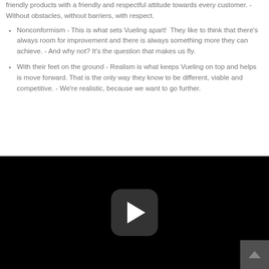friendly products with a friendly and respectful attitude towards every customer. - Without obstacles, without barriers, with respect.
Nonconformism - This is what sets Vueling apart!  They like to think that there's always room for improvement and there is always something more they can achieve. - And why not? It's the question that makes us fly.
With their feet on the ground - Realism is what keeps Vueling on top and helps is move forward. That is the only way they know to be different, viable and competitive. - We're realistic, because we want to go further.
[Figure (screenshot): Black video player area with a rounded-rectangle play button in the center and a scroll-up arrow in the bottom right corner.]